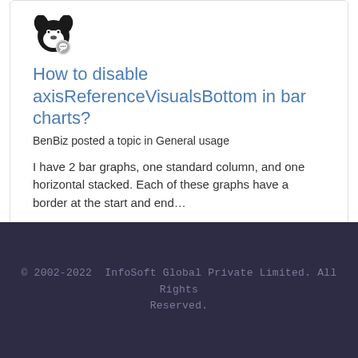[Figure (illustration): User avatar showing a cartoon dog face (black and white) with a small chat bubble icon overlay at bottom right]
How to disable axisReferenceVisualsBottom in bar charts?
BenBiz posted a topic in General usage
I have 2 bar graphs, one standard column, and one horizontal stacked. Each of these graphs have a border at the start and end...
January 18, 2021   2 replies
© 2002-2022  InfoSoft Global Private Limited. All Rights Reserved.